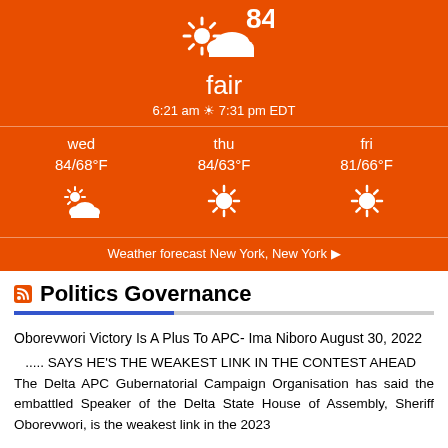[Figure (screenshot): Weather widget showing current conditions: fair, 6:21 am sunrise 7:31 pm EDT. Forecast for wed 84/68°F partly cloudy, thu 84/63°F sunny, fri 81/66°F sunny. Link: Weather forecast New York, New York.]
Politics Governance
Oborevwori Victory Is A Plus To APC- Ima Niboro August 30, 2022
  ..... SAYS HE'S THE WEAKEST LINK IN THE CONTEST AHEAD
The Delta APC Gubernatorial Campaign Organisation has said the embattled Speaker of the Delta State House of Assembly, Sheriff Oborevwori, is the weakest link in the 2023